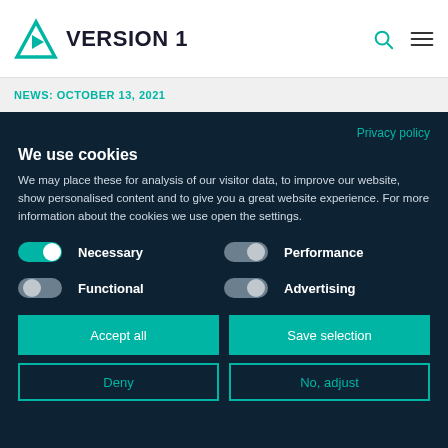[Figure (logo): Version 1 logo with teal triangle and bold text VERSION 1]
NEWS: OCTOBER 13, 2021
Privacy policy
We use cookies
We may place these for analysis of our visitor data, to improve our website, show personalised content and to give you a great website experience. For more information about the cookies we use open the settings.
Necessary
Performance
Functional
Advertising
Accept all
Save selection
Deny
No, adjust